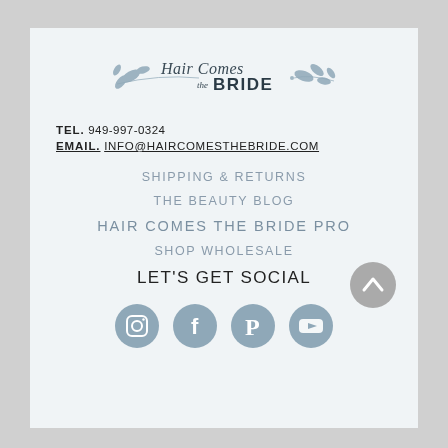[Figure (logo): Hair Comes the Bride decorative script logo with botanical leaf illustration]
TEL. 949-997-0324
EMAIL. INFO@HAIRCOMESTHEBRIDE.COM
SHIPPING & RETURNS
THE BEAUTY BLOG
HAIR COMES THE BRIDE PRO
SHOP WHOLESALE
LET'S GET SOCIAL
[Figure (illustration): Four social media icons in grey circles: Instagram, Facebook, Pinterest, YouTube]